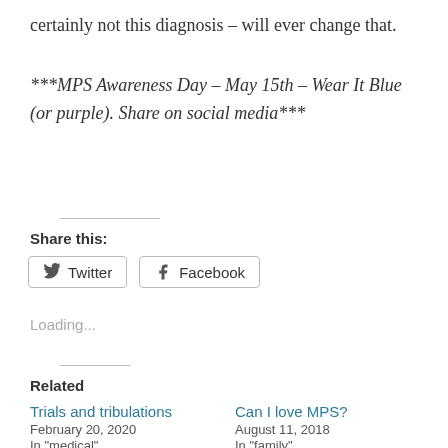certainly not this diagnosis – will ever change that.
***MPS Awareness Day – May 15th – Wear It Blue (or purple). Share on social media***
Share this:
Twitter  Facebook
Loading...
Related
Trials and tribulations
February 20, 2020
In "medical"
Can I love MPS?
August 11, 2018
In "family"